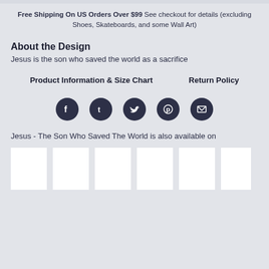Free Shipping On US Orders Over $99 See checkout for details (excluding Shoes, Skateboards, and some Wall Art)
About the Design
Jesus is the son who saved the world as a sacrifice
Product Information & Size Chart    Return Policy
[Figure (other): Social media share icons: Facebook, Tumblr, Twitter, Pinterest, Email]
Jesus - The Son Who Saved The World is also available on
[Figure (other): Six white product thumbnail images]